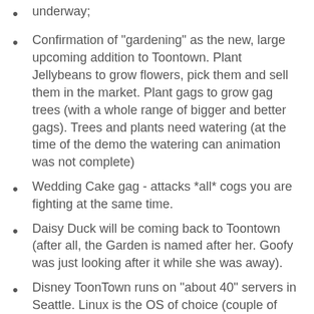underway;
Confirmation of "gardening" as the new, large upcoming addition to Toontown. Plant Jellybeans to grow flowers, pick them and sell them in the market. Plant gags to grow gag trees (with a whole range of bigger and better gags). Trees and plants need watering (at the time of the demo the watering can animation was not complete)
Wedding Cake gag - attacks *all* cogs you are fighting at the same time.
Daisy Duck will be coming back to Toontown (after all, the Garden is named after her. Goofy was just looking after it while she was away).
Disney ToonTown runs on "about 40" servers in Seattle. Linux is the OS of choice (couple of distro's)
Cog HQ is under construction. No details from the Disney team regarding release date.
Disney is lookig into how to allow users with